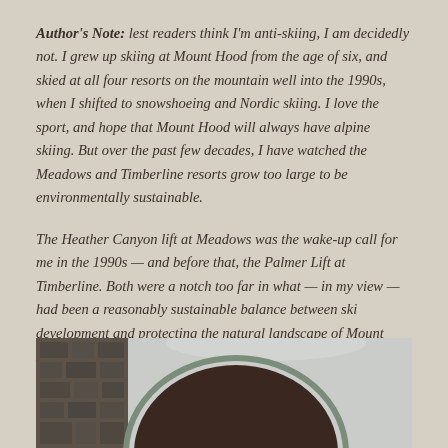Author's Note: lest readers think I'm anti-skiing, I am decidedly not. I grew up skiing at Mount Hood from the age of six, and skied at all four resorts on the mountain well into the 1990s, when I shifted to snowshoeing and Nordic skiing. I love the sport, and hope that Mount Hood will always have alpine skiing. But over the past few decades, I have watched the Meadows and Timberline resorts grow too large to be environmentally sustainable.
The Heather Canyon lift at Meadows was the wake-up call for me in the 1990s — and before that, the Palmer Lift at Timberline. Both were a notch too far in what — in my view — had been a reasonably sustainable balance between ski development and protecting the natural landscape of Mount Hood.
[Figure (photo): Partial view of a stone wall on the left and a circular or arched dark brown structure (possibly a dome or arch) against a snowy/gray background, cropped at the bottom of the page.]